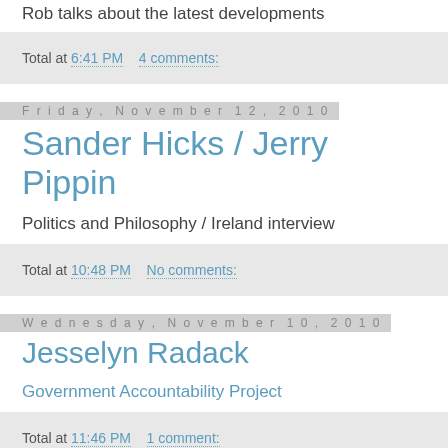Rob talks about the latest developments
Total at 6:41 PM    4 comments:
Friday, November 12, 2010
Sander Hicks / Jerry Pippin
Politics and Philosophy / Ireland interview
Total at 10:48 PM    No comments:
Wednesday, November 10, 2010
Jesselyn Radack
Government Accountability Project
Total at 11:46 PM    1 comment: